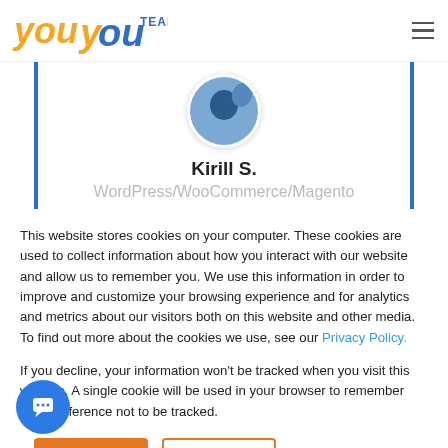YouTeam
Kirill S.
WordPress/WooCommerce/Magento
This website stores cookies on your computer. These cookies are used to collect information about how you interact with our website and allow us to remember you. We use this information in order to improve and customize your browsing experience and for analytics and metrics about our visitors both on this website and other media. To find out more about the cookies we use, see our Privacy Policy.
If you decline, your information won’t be tracked when you visit this website. A single cookie will be used in your browser to remember your preference not to be tracked.
Accept
Decline